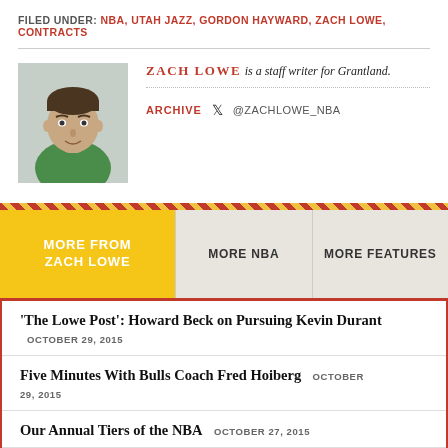FILED UNDER: NBA, UTAH JAZZ, GORDON HAYWARD, ZACH LOWE, CONTRACTS
[Figure (photo): Headshot photo of Zach Lowe in green shirt]
ZACH LOWE is a staff writer for Grantland.
ARCHIVE  @ZACHLOWE_NBA
MORE FROM ZACH LOWE | MORE NBA | MORE FEATURES
'The Lowe Post': Howard Beck on Pursuing Kevin Durant  OCTOBER 29, 2015
Five Minutes With Bulls Coach Fred Hoiberg  OCTOBER 29, 2015
Our Annual Tiers of the NBA  OCTOBER 27, 2015
'The Lowe Post' Podcast: Jeff Van Gundy  OCTOBER 23, 2015